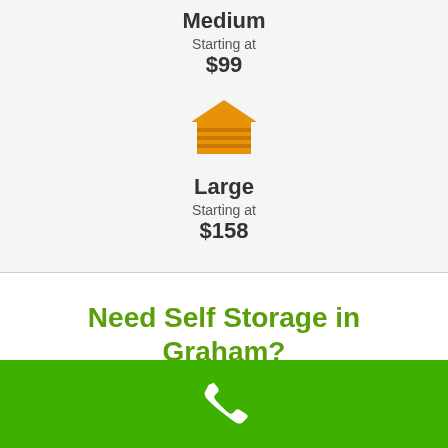Medium
Starting at $99
[Figure (illustration): Orange garage/storage building icon]
Large
Starting at $158
Need Self Storage in Graham?
[Figure (illustration): White phone handset icon on green background bar]